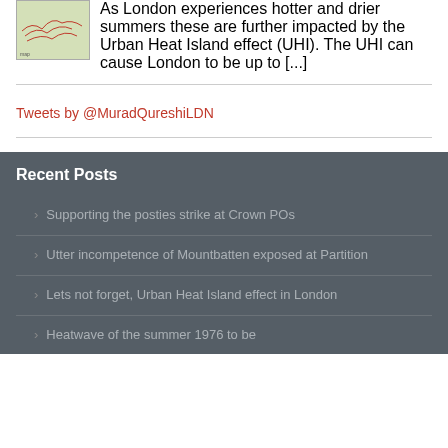As London experiences hotter and drier summers these are further impacted by the Urban Heat Island effect (UHI). The UHI can cause London to be up to [...]
Tweets by @MuradQureshiLDN
Recent Posts
Supporting the posties strike at Crown POs
Utter incompetence of Mountbatten exposed at Partition
Lets not forget, Urban Heat Island effect in London
Heatwave of the summer 1976 to be